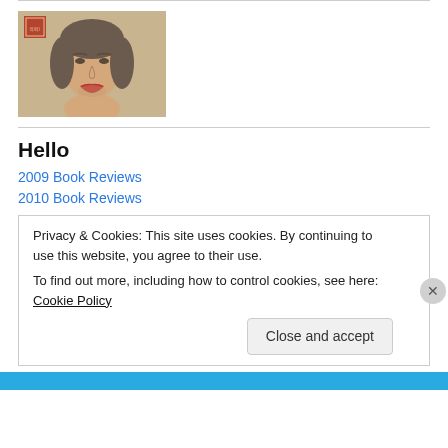[Figure (illustration): A painted portrait of a woman with dark hair and red lips on a tan background, with a small red seal/stamp in the upper left corner.]
Hello
2009 Book Reviews
2010 Book Reviews
Privacy & Cookies: This site uses cookies. By continuing to use this website, you agree to their use.
To find out more, including how to control cookies, see here: Cookie Policy
Close and accept